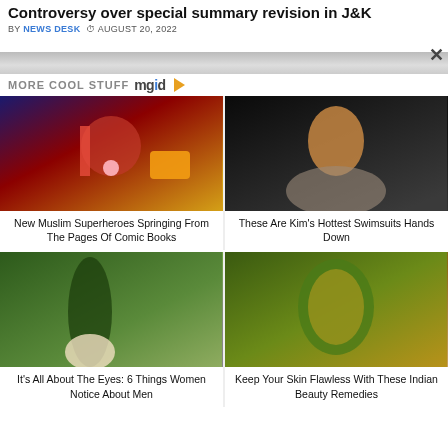Controversy over special summary revision in J&K
BY NEWS DESK  © AUGUST 20, 2022
MORE COOL STUFF mgid ▷
[Figure (illustration): Ms. Marvel / Muslim superhero comic character blowing bubble gum, cartoon style]
New Muslim Superheroes Springing From The Pages Of Comic Books
[Figure (photo): Woman in a gray bikini posing against dark background]
These Are Kim's Hottest Swimsuits Hands Down
[Figure (photo): Woman standing outdoors in trees, viewed from behind]
It's All About The Eyes: 6 Things Women Notice About Men
[Figure (photo): Woman with green face mask applied, eyes closed]
Keep Your Skin Flawless With These Indian Beauty Remedies
Join WhatsApp